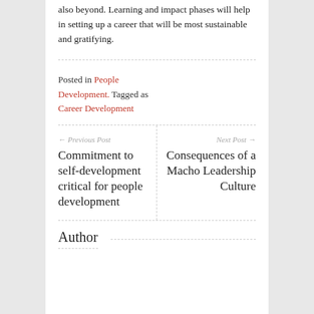also beyond. Learning and impact phases will help in setting up a career that will be most sustainable and gratifying.
Posted in People Development. Tagged as Career Development
← Previous Post
Commitment to self-development critical for people development
Next Post →
Consequences of a Macho Leadership Culture
Author